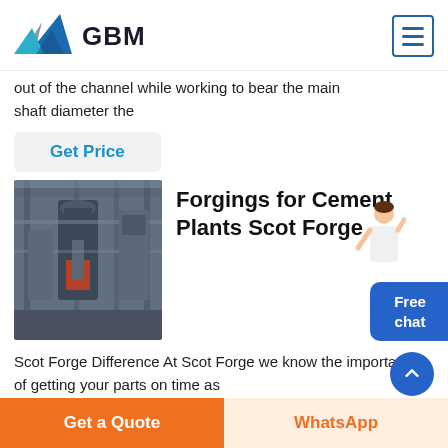[Figure (logo): GBM company logo with mountain/triangle graphic in blue and grey]
out of the channel while working to bear the main shaft diameter the
Get Price
[Figure (photo): Industrial forging facility interior with large machinery and equipment]
Forgings for Cement Plants Scot Forge
Scot Forge Difference At Scot Forge we know the importance of getting your parts on time as
Free chat
Get a Quote
WhatsApp